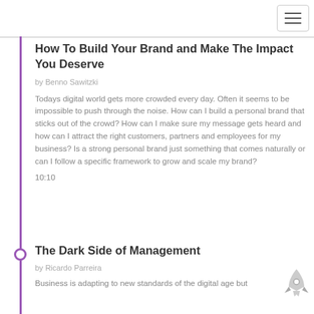[Figure (other): Hamburger menu icon button in top right corner]
How To Build Your Brand and Make The Impact You Deserve
by Benno Sawitzki
Todays digital world gets more crowded every day. Often it seems to be impossible to push through the noise. How can I build a personal brand that sticks out of the crowd? How can I make sure my message gets heard and how can I attract the right customers, partners and employees for my business? Is a strong personal brand just something that comes naturally or can I follow a specific framework to grow and scale my brand?
10:10
The Dark Side of Management
by Ricardo Parreira
Business is adapting to new standards of the digital age but